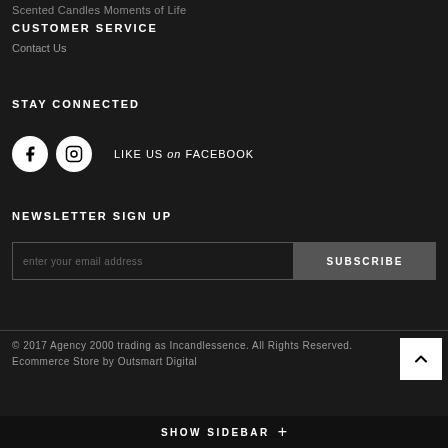Scented Candles Moments of Life
CUSTOMER SERVICE
Contact Us
STAY CONNECTED
[Figure (infographic): Facebook and Instagram social media icons (white circles), with text 'LIKE US on FACEBOOK']
NEWSLETTER SIGN UP
enter your email address
SUBSCRIBE
© 2017 Agency 2000 trading as Incandlessence. All Rights Reserved. Ecommerce Store by Outsmart Digital
SHOW SIDEBAR +